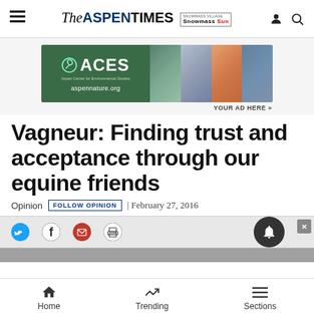THE ASPEN TIMES | Snowmass Sun
[Figure (screenshot): ACES (Aspen Center for Environmental Studies) advertisement banner with green background, logo, aspennature.org URL, and nature/outdoor photos]
YOUR AD HERE »
Vagneur: Finding trust and acceptance through our equine friends
Opinion  FOLLOW OPINION  | February 27, 2016
[Figure (infographic): Social sharing icons: Twitter (blue bird), Facebook (f), email (envelope), print (printer), notification bell button, and close X button]
Home  Trending  Sections